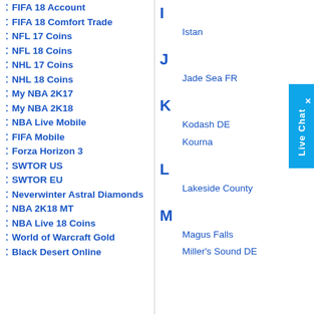FIFA 18 Account
FIFA 18 Comfort Trade
NFL 17 Coins
NFL 18 Coins
NHL 17 Coins
NHL 18 Coins
My NBA 2K17
My NBA 2K18
NBA Live Mobile
FIFA Mobile
Forza Horizon 3
SWTOR US
SWTOR EU
Neverwinter Astral Diamonds
NBA 2K18 MT
NBA Live 18 Coins
World of Warcraft Gold
Black Desert Online
I
Istan
J
Jade Sea FR
K
Kodash DE
Kourna
L
Lakeside County
M
Magus Falls
Miller's Sound DE